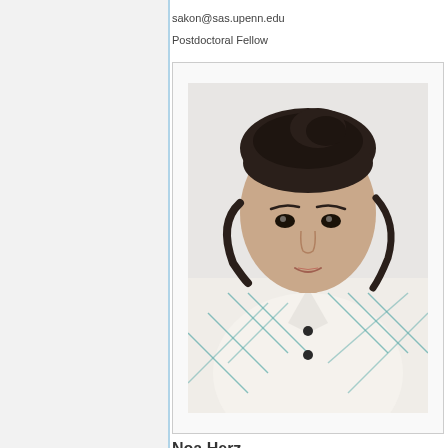sakon@sas.upenn.edu
Postdoctoral Fellow
[Figure (photo): Headshot of a young woman with dark hair pulled back, wearing a white patterned blouse with teal geometric designs, photographed against a white/light background. The photo is framed in a light grey bordered box.]
Noa Herz
herz.noa@gmail.com